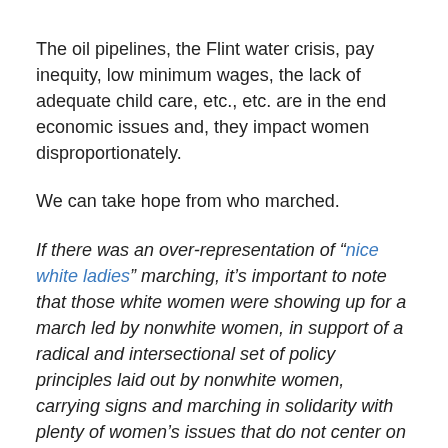The oil pipelines, the Flint water crisis, pay inequity, low minimum wages, the lack of adequate child care, etc., etc. are in the end economic issues and, they impact women disproportionately.
We can take hope from who marched.
If there was an over-representation of “nice white ladies” marching, it’s important to note that those white women were showing up for a march led by nonwhite women, in support of a radical and intersectional set of policy principles laid out by nonwhite women, carrying signs and marching in solidarity with plenty of women’s issues that do not center on white women. No, we shouldn’t give them too much credit for showing up where they should have been for years. And yes, the next steps must include white